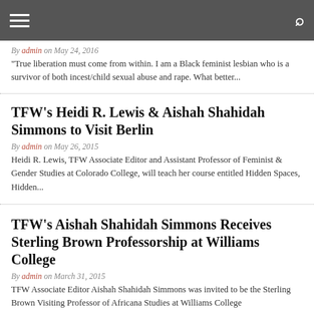Navigation bar with hamburger menu and search icon
By admin on May 24, 2016
“True liberation must come from within. I am a Black feminist lesbian who is a survivor of both incest/child sexual abuse and rape. What better...
TFW’s Heidi R. Lewis & Aishah Shahidah Simmons to Visit Berlin
By admin on May 26, 2015
Heidi R. Lewis, TFW Associate Editor and Assistant Professor of Feminist & Gender Studies at Colorado College, will teach her course entitled Hidden Spaces, Hidden...
TFW’s Aishah Shahidah Simmons Receives Sterling Brown Professorship at Williams College
By admin on March 31, 2015
TFW Associate Editor Aishah Shahidah Simmons was invited to be the Sterling Brown Visiting Professor of Africana Studies at Williams College